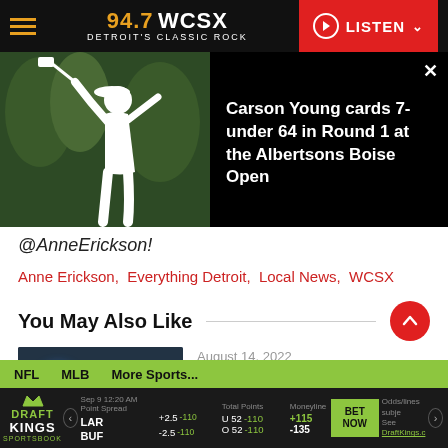94.7 WCSX — Detroit's Classic Rock — LISTEN
[Figure (photo): News popup overlay: golfer swinging a club on the left, headline text on dark background on the right with a close button]
@AnneErickson!
Anne Erickson,  Everything Detroit,  Local News,  WCSX
You May Also Like
[Figure (photo): Blurred bokeh photo for a related article about Michigan cities]
August 14, 2022
4 Michigan Cities
NFL   MLB   More Sports... | DraftKings Sportsbook — LAR +2.5 -110, BUF -2.5 -110 | U 52 -110, O 52 -110 | +115, -135 | BET NOW | Odds/lines subject to change. See DraftKings.com